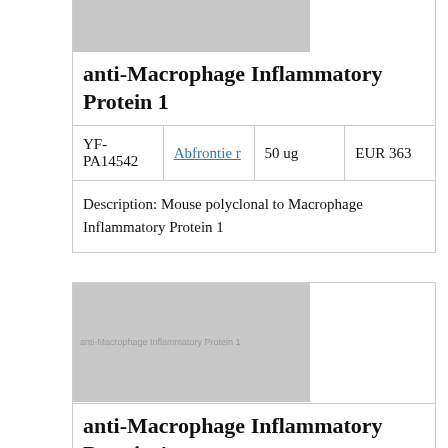anti-Macrophage Inflammatory Protein 1
| YF-PA14542 | Abfrontier | 50 ug | EUR 363 |
| --- | --- | --- | --- |
| YF-PA14542 | Abfrontier | 50 ug | EUR 363 |
Description: Mouse polyclonal to Macrophage Inflammatory Protein 1
[Figure (photo): Product image placeholder grey box with watermark text anti-Macrophage Inflammatory Protein 1]
anti-Macrophage Inflammatory Protein 1